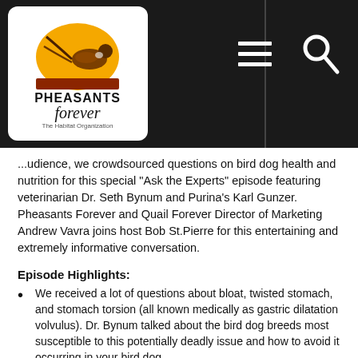[Figure (logo): Pheasants Forever logo — pheasant bird over orange sun on grass, text 'PHEASANTS forever The Habitat Organization']
...udience, we crowdsourced questions on bird dog health and nutrition for this special "Ask the Experts" episode featuring veterinarian Dr. Seth Bynum and Purina's Karl Gunzer. Pheasants Forever and Quail Forever Director of Marketing Andrew Vavra joins host Bob St. Pierre for this entertaining and extremely informative conversation.
Episode Highlights:
We received a lot of questions about bloat, twisted stomach, and stomach torsion (all known medically as gastric dilatation volvulus). Dr. Bynum talked about the bird dog breeds most susceptible to this potentially deadly issue and how to avoid it occurring in your bird dog.
Gunzer answered a wide array of questions about dog food; including when to switch a puppy to adult dog food, as well as answering the best time to feed a bird dog – before, during, or after a hunt – for peak